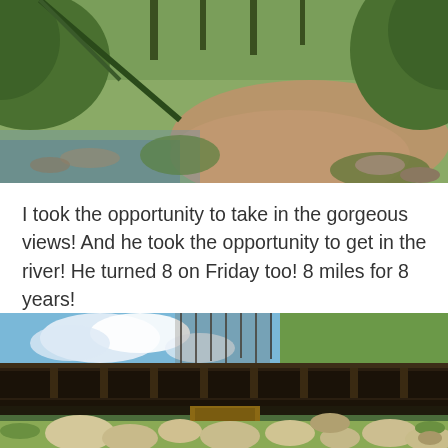[Figure (photo): Outdoor nature photo showing a river or stream with rocky banks, green vegetation and trees on the sides, and a sandy/dirt area in the middle background. Sunlit outdoor scene.]
I took the opportunity to take in the gorgeous views! And he took the opportunity to get in the river! He turned 8 on Friday too! 8 miles for 8 years!
[Figure (photo): Photo of a wooden bridge or footbridge with dark brown railings and supports, taken from below. Rocky riverbed with large white/tan boulders visible underneath. Background shows hillside with burned dead trees and green trees, blue sky with clouds.]